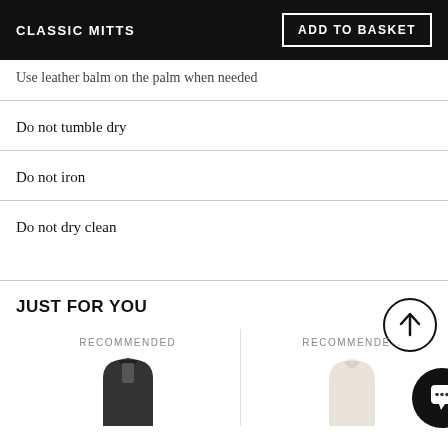CLASSIC MITTS | ADD TO BASKET
Use leather balm on the palm when needed
Do not tumble dry
Do not iron
Do not dry clean
JUST FOR YOU
RECOMMENDED
RECOMMENDED